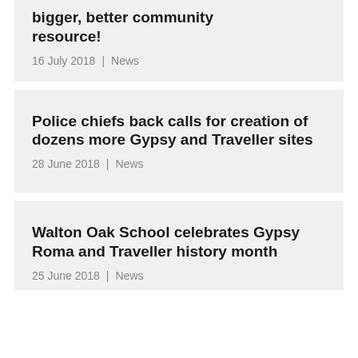bigger, better community resource!
16 July 2018  |  News
Police chiefs back calls for creation of dozens more Gypsy and Traveller sites
28 June 2018  |  News
Walton Oak School celebrates Gypsy Roma and Traveller history month
25 June 2018  |  News